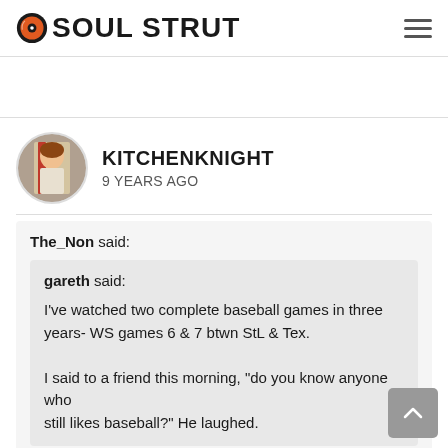SOUL STRUT
KITCHENKNIGHT
9 YEARS AGO
The_Non said:
gareth said:
I've watched two complete baseball games in three years- WS games 6 & 7 btwn StL & Tex.

I said to a friend this morning, "do you know anyone who still likes baseball?" He laughed.